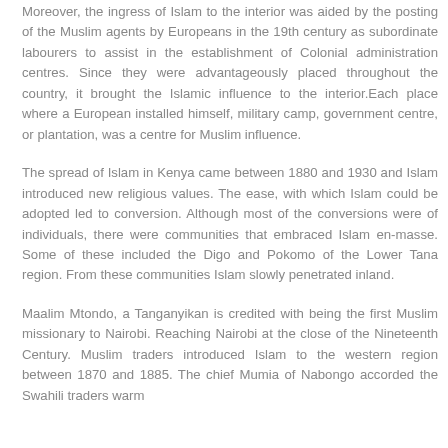Moreover, the ingress of Islam to the interior was aided by the posting of the Muslim agents by Europeans in the 19th century as subordinate labourers to assist in the establishment of Colonial administration centres. Since they were advantageously placed throughout the country, it brought the Islamic influence to the interior.Each place where a European installed himself, military camp, government centre, or plantation, was a centre for Muslim influence.
The spread of Islam in Kenya came between 1880 and 1930 and Islam introduced new religious values. The ease, with which Islam could be adopted led to conversion. Although most of the conversions were of individuals, there were communities that embraced Islam en-masse. Some of these included the Digo and Pokomo of the Lower Tana region. From these communities Islam slowly penetrated inland.
Maalim Mtondo, a Tanganyikan is credited with being the first Muslim missionary to Nairobi. Reaching Nairobi at the close of the Nineteenth Century. Muslim traders introduced Islam to the western region between 1870 and 1885. The chief Mumia of Nabongo accorded the Swahili traders warm